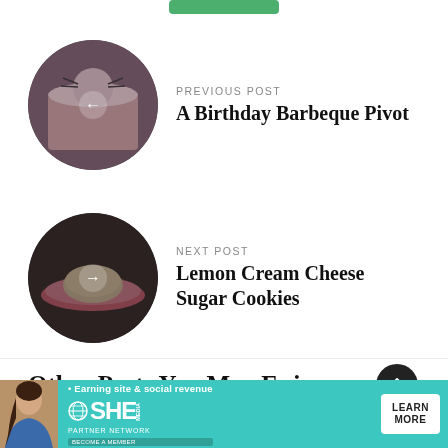[Figure (other): Green button stub at top center]
[Figure (photo): Circular thumbnail of a cat-themed birthday cake with a left arrow overlay]
PREVIOUS POST
A Birthday Barbeque Pivot
[Figure (photo): Circular thumbnail of a plate with a cookie/dessert with a right arrow overlay]
NEXT POST
Lemon Cream Cheese Sugar Cookies
Other Posts You May Enjoy
[Figure (infographic): SHE Partner Network advertisement banner with a person photo, SHE logo, tagline '• Earning site & social revenue', PARTNER NETWORK, BECOME A MEMBER text, and LEARN MORE button]